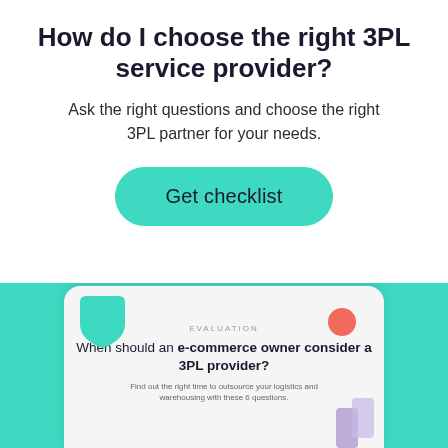How do I choose the right 3PL service provider?
Ask the right questions and choose the right 3PL partner for your needs.
Get checklist
[Figure (illustration): Teal background section with a device/tablet mockup showing a document titled 'When should an e-commerce owner consider a 3PL provider?' with subtitle 'Find out the right time to outsource your logistics and warehousing with these 6 questions.' Decorative teal shield shape top-left, coral circle top-right, purple shape bottom-right of card.]